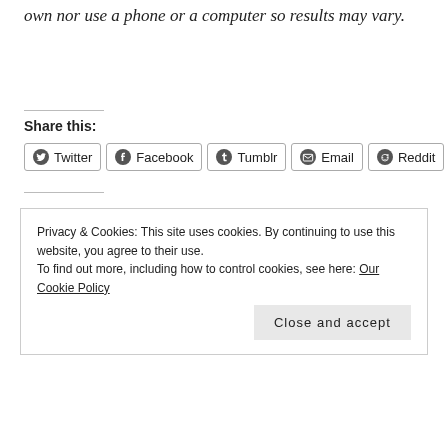own nor use a phone or a computer so results may vary.
Share this:
Twitter Facebook Tumblr Email Reddit
Privacy & Cookies: This site uses cookies. By continuing to use this website, you agree to their use.
To find out more, including how to control cookies, see here: Our Cookie Policy
Close and accept